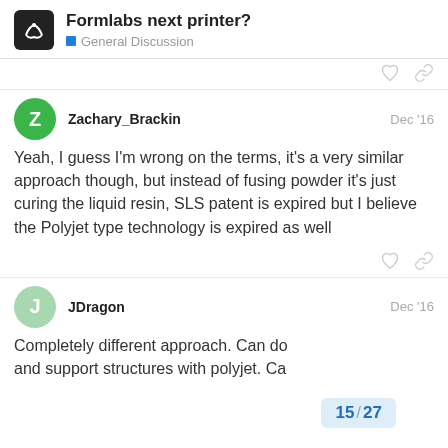Formlabs next printer? — General Discussion
Yeah, I guess I'm wrong on the terms, it's a very similar approach though, but instead of fusing powder it's just curing the liquid resin, SLS patent is expired but I believe the Polyjet type technology is expired as well
Completely different approach. Can do and support structures with polyjet. Ca
15 / 27